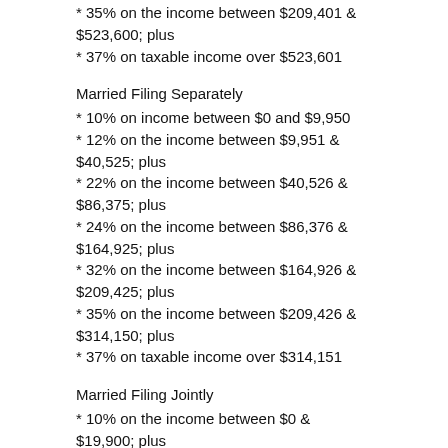* 35% on the income between $209,401 & $523,600; plus
* 37% on taxable income over $523,601
Married Filing Separately
* 10% on income between $0 and $9,950
* 12% on the income between $9,951 & $40,525; plus
* 22% on the income between $40,526 & $86,375; plus
* 24% on the income between $86,376 & $164,925; plus
* 32% on the income between $164,926 & $209,425; plus
* 35% on the income between $209,426 & $314,150; plus
* 37% on taxable income over $314,151
Married Filing Jointly
* 10% on the income between $0 & $19,900; plus
* 12% on the income between $19,901 & $81,050; plus
* 22% on the income between $81,051 &